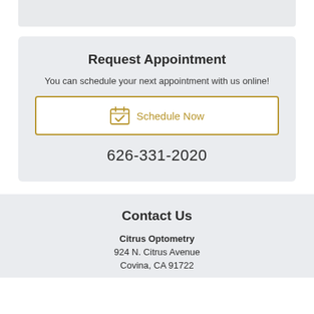Request Appointment
You can schedule your next appointment with us online!
[Figure (other): Schedule Now button with calendar icon and gold border]
626-331-2020
Contact Us
Citrus Optometry
924 N. Citrus Avenue
Covina, CA 91722